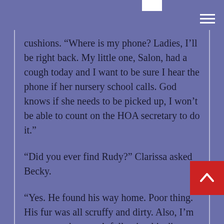cushions. “Where is my phone? Ladies, I’ll be right back. My little one, Salon, had a cough today and I want to be sure I hear the phone if her nursery school calls. God knows if she needs to be picked up, I won’t be able to count on the HOA secretary to do it.”
“Did you ever find Rudy?” Clarissa asked Becky.
“Yes. He found his way home. Poor thing. His fur was all scruffy and dirty. Also, I’m pretty sure he wasn’t following his diet while he was out, running all over the place. His breath